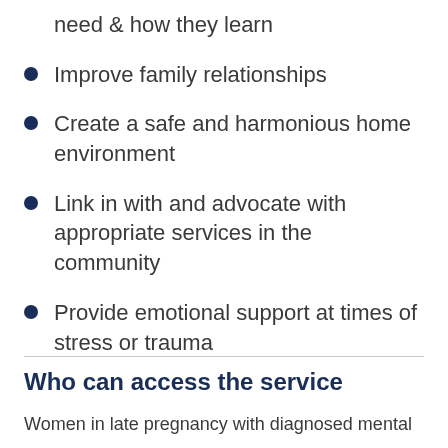need & how they learn
Improve family relationships
Create a safe and harmonious home environment
Link in with and advocate with appropriate services in the community
Provide emotional support at times of stress or trauma
Who can access the service
Women in late pregnancy with diagnosed mental